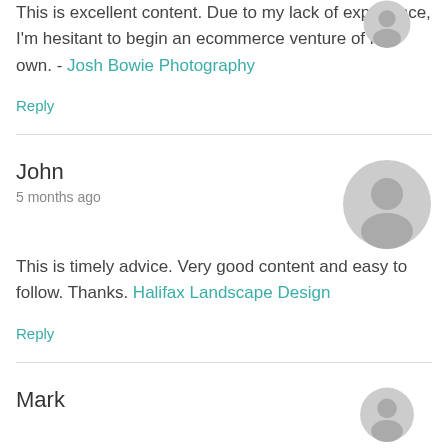This is excellent content. Due to my lack of experience, I'm hesitant to begin an ecommerce venture of my own. - Josh Bowie Photography
Reply
John
5 months ago
This is timely advice. Very good content and easy to follow. Thanks. Halifax Landscape Design
Reply
Mark